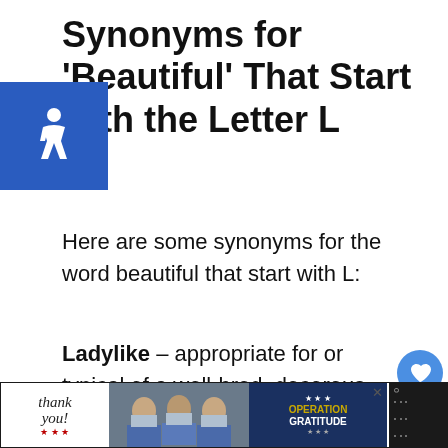Synonyms for 'Beautiful' That Start with the Letter L
[Figure (logo): Blue accessibility wheelchair icon badge]
Here are some synonyms for the word beautiful that start with L:
Ladylike – appropriate for or typical of a well-bred, decorous woman or girl.
[Figure (other): Heart like button (blue circle) with count 1, and share button below]
Lavish – (of a person) very generous or extravagant.
[Figure (other): What's Next promo: thumbnail image of book cover with text '32+ Negative Words...']
[Figure (photo): Bottom advertisement banner: 'Thank you' with flag pencils, photo of masked nurses holding cards, Operation Gratitude logo on dark background]